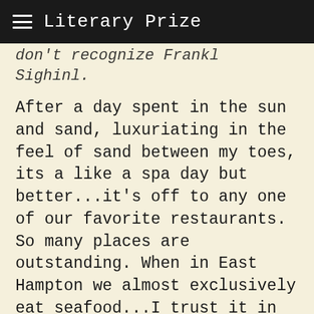Literary Prize
don't recognize Frankl Sighinl.
After a day spent in the sun and sand, luxuriating in the feel of sand between my toes, its a like a spa day but better...it's off to any one of our favorite restaurants. So many places are outstanding. When in East Hampton we almost exclusively eat seafood...I trust it in the Hampton's, Ohio, not so much. This visit I insist on trying a few new places. Truly, if I didn't, we would be at Lunch for every meal, the Hot Lobster Rolls are the stuff dreams are made of.
We end up at Beacon in Sag Harbor. I have one indisputable rule while in the Hampton's, we only sit outside if there is a view...not sitting outside looking at sidewalks, parking lots...by view, I